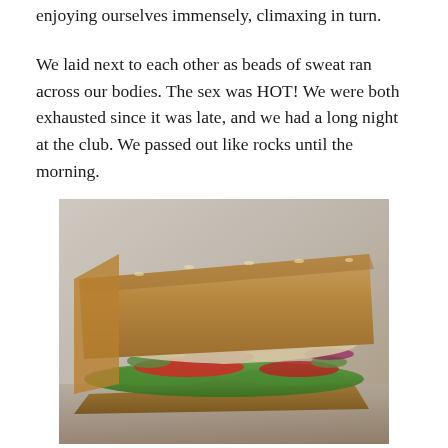enjoying ourselves immensely, climaxing in turn.
We laid next to each other as beads of sweat ran across our bodies. The sex was HOT! We were both exhausted since it was late, and we had a long night at the club. We passed out like rocks until the morning.
[Figure (photo): A submarine sandwich on whole wheat bread filled with turkey/chicken slices, lettuce, tomato, cucumber, red onion, and cheese, photographed on a stone surface.]
When we woke in the morning, we had a busy day ahead